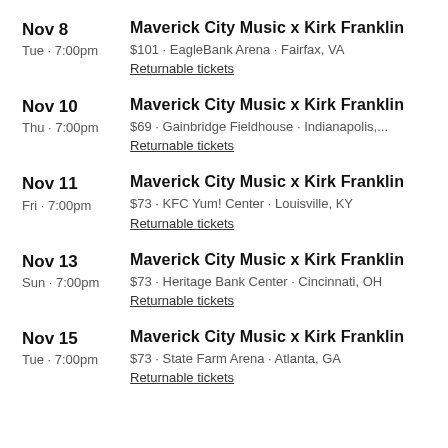Nov 8
Tue · 7:00pm
Maverick City Music x Kirk Franklin
$101 · EagleBank Arena · Fairfax, VA
Returnable tickets
Nov 10
Thu · 7:00pm
Maverick City Music x Kirk Franklin
$69 · Gainbridge Fieldhouse · Indianapolis,...
Returnable tickets
Nov 11
Fri · 7:00pm
Maverick City Music x Kirk Franklin
$73 · KFC Yum! Center · Louisville, KY
Returnable tickets
Nov 13
Sun · 7:00pm
Maverick City Music x Kirk Franklin
$73 · Heritage Bank Center · Cincinnati, OH
Returnable tickets
Nov 15
Tue · 7:00pm
Maverick City Music x Kirk Franklin
$73 · State Farm Arena · Atlanta, GA
Returnable tickets